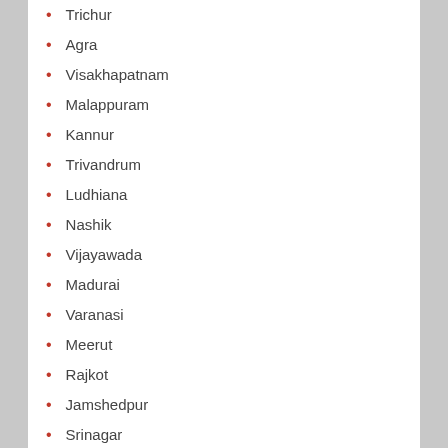Trichur
Agra
Visakhapatnam
Malappuram
Kannur
Trivandrum
Ludhiana
Nashik
Vijayawada
Madurai
Varanasi
Meerut
Rajkot
Jamshedpur
Srinagar
Jabalpur
Asansol